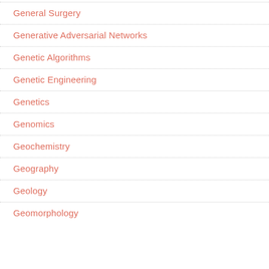General Surgery
Generative Adversarial Networks
Genetic Algorithms
Genetic Engineering
Genetics
Genomics
Geochemistry
Geography
Geology
Geomorphology